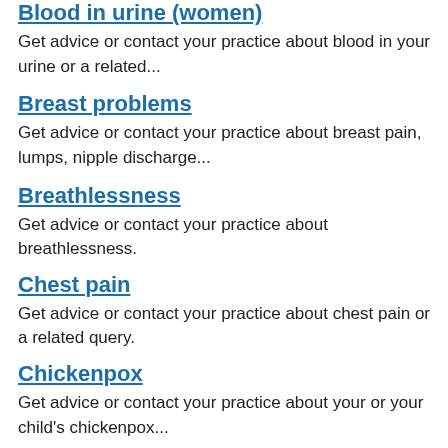Blood in urine (women)
Get advice or contact your practice about blood in your urine or a related...
Breast problems
Get advice or contact your practice about breast pain, lumps, nipple discharge...
Breathlessness
Get advice or contact your practice about breathlessness.
Chest pain
Get advice or contact your practice about chest pain or a related query.
Chickenpox
Get advice or contact your practice about your or your child's chickenpox...